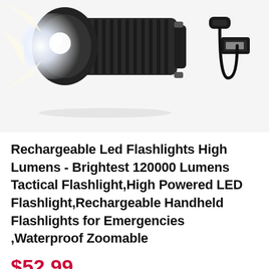[Figure (photo): Product photo showing a black tactical LED flashlight with bright white light beam on the left, and a USB-A to USB-C charging cable on the right, on a white background.]
Rechargeable Led Flashlights High Lumens - Brightest 120000 Lumens Tactical Flashlight,High Powered LED Flashlight,Rechargeable Handheld Flashlights for Emergencies ,Waterproof Zoomable
$52.99